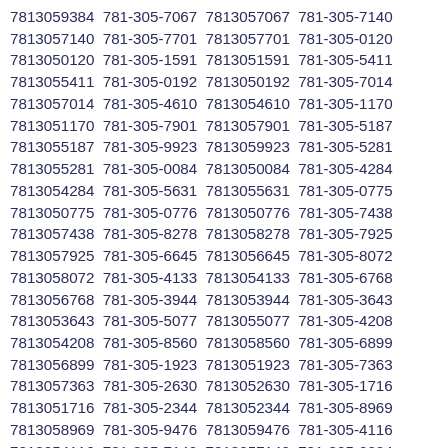7813059384 781-305-7067 7813057067 781-305-7140 7813057140 781-305-7701 7813057701 781-305-0120 7813050120 781-305-1591 7813051591 781-305-5411 7813055411 781-305-0192 7813050192 781-305-7014 7813057014 781-305-4610 7813054610 781-305-1170 7813051170 781-305-7901 7813057901 781-305-5187 7813055187 781-305-9923 7813059923 781-305-5281 7813055281 781-305-0084 7813050084 781-305-4284 7813054284 781-305-5631 7813055631 781-305-0775 7813050775 781-305-0776 7813050776 781-305-7438 7813057438 781-305-8278 7813058278 781-305-7925 7813057925 781-305-6645 7813056645 781-305-8072 7813058072 781-305-4133 7813054133 781-305-6768 7813056768 781-305-3944 7813053944 781-305-3643 7813053643 781-305-5077 7813055077 781-305-4208 7813054208 781-305-8560 7813058560 781-305-6899 7813056899 781-305-1923 7813051923 781-305-7363 7813057363 781-305-2630 7813052630 781-305-1716 7813051716 781-305-2344 7813052344 781-305-8969 7813058969 781-305-9476 7813059476 781-305-4116 7813054116 781-305-7142 7813057142 781-305-2224 7813052224 781-305-8372 7813058372 781-305-5016 7813055016 781-305-0133 7813050133 781-305-5922 7813055922 781-305-3415 7813053415 781-305-3857 7813053857 781-305-2925 7813052925 781-305-1729